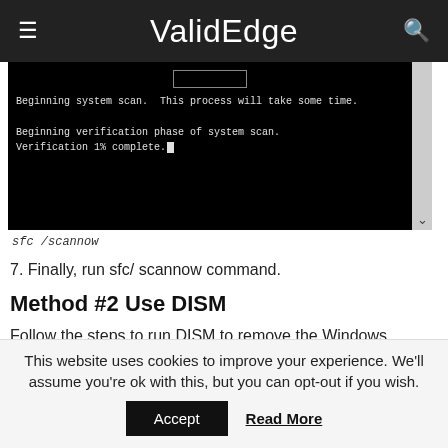ValidEdge
[Figure (screenshot): Terminal/command prompt window showing: 'Beginning system scan. This process will take some time.' and 'Beginning verification phase of system scan. Verification 1% complete.' with a blinking cursor, on a black background. A scrollbar is visible on the right.]
sfc /scannow
7. Finally, run sfc/ scannow command.
Method #2 Use DISM
Follow the steps to run DISM to remove the Windows
This website uses cookies to improve your experience. We'll assume you're ok with this, but you can opt-out if you wish.